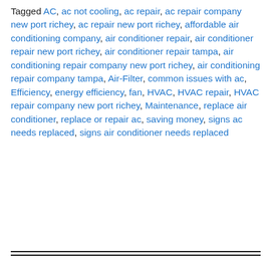Tagged AC, ac not cooling, ac repair, ac repair company new port richey, ac repair new port richey, affordable air conditioning company, air conditioner repair, air conditioner repair new port richey, air conditioner repair tampa, air conditioning repair company new port richey, air conditioning repair company tampa, Air-Filter, common issues with ac, Efficiency, energy efficiency, fan, HVAC, HVAC repair, HVAC repair company new port richey, Maintenance, replace air conditioner, replace or repair ac, saving money, signs ac needs replaced, signs air conditioner needs replaced
---